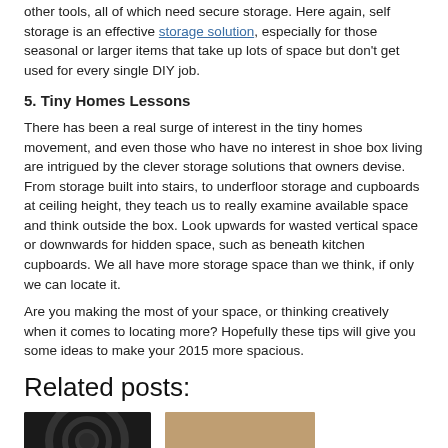other tools, all of which need secure storage. Here again, self storage is an effective storage solution, especially for those seasonal or larger items that take up lots of space but don't get used for every single DIY job.
5. Tiny Homes Lessons
There has been a real surge of interest in the tiny homes movement, and even those who have no interest in shoe box living are intrigued by the clever storage solutions that owners devise. From storage built into stairs, to underfloor storage and cupboards at ceiling height, they teach us to really examine available space and think outside the box. Look upwards for wasted vertical space or downwards for hidden space, such as beneath kitchen cupboards. We all have more storage space than we think, if only we can locate it.
Are you making the most of your space, or thinking creatively when it comes to locating more? Hopefully these tips will give you some ideas to make your 2015 more spacious.
Related posts:
[Figure (photo): Two related post thumbnail images — a dark circular/swirl image on the left and a tan/beige image on the right]